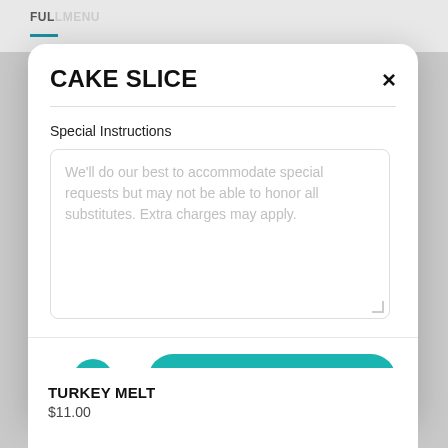CAKE SLICE
Special Instructions
We'll do our best to accommodate special requests but may not be able to honor all substitutes. Extra charges may apply.
1
Add to Cart  $5.95
TURKEY MELT
$11.00